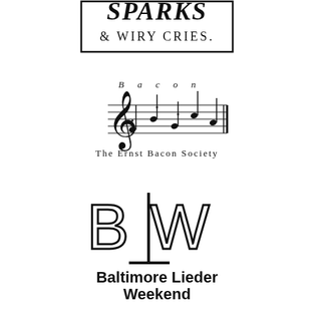[Figure (logo): Sparks & Wiry Cries logo — partial view showing decorative text '& WIRY CRIES.' with a letterpress/woodblock style]
[Figure (logo): The Ernst Bacon Society logo — musical staff with notes spelling 'Bacon' above, treble clef on left, text 'The Ernst Bacon Society' below]
[Figure (logo): Baltimore Lieder Weekend logo — BLW monogram with vertical bar between B and W, bold sans-serif text 'Baltimore Lieder Weekend' below]